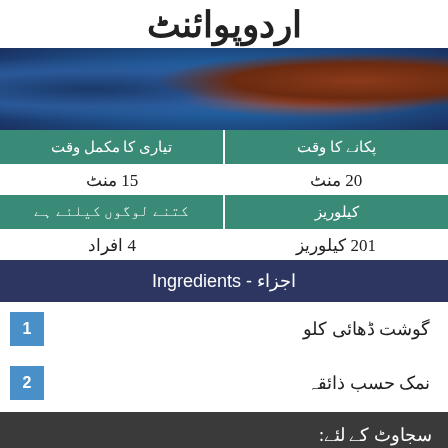اردوپوائنٹ
[Figure (photo): Food photo showing a decorative blue and white patterned dish with meat and tomatoes]
تیاری کا مکمل وقت
پکانے کا وقت
15 منٹ
20 منٹ
کتنے لوگوں کیلئے ہے
کیلوریز
4 افراد
201 کیلوریز
اجزاء - Ingredients
1 گوشت ڈھائی کلو
2 نمک حسب ذائقہ
سجاوٹ کے لئے: